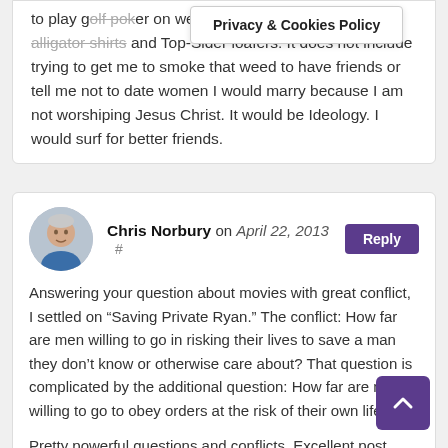to play g[olf and drink a Scotch whisky on weekends while wearing those alligator shirts] and Top-Sider loafers. It does not include trying to get me to smoke that weed to have friends or tell me not to date women I would marry because I am not worshiping Jesus Christ. It would be Ideology. I would surf for better friends.
Privacy & Cookies Policy
Chris Norbury on April 22, 2013 # Reply
[Figure (photo): Circular avatar photo of Chris Norbury, a middle-aged man]
Answering your question about movies with great conflict, I settled on “Saving Private Ryan.” The conflict: How far are men willing to go in risking their lives to save a man they don’t know or otherwise care about? That question is complicated by the additional question: How far are men willing to go to obey orders at the risk of their own life?

Pretty powerful questions and conflicts. Excellent post, Kristen.